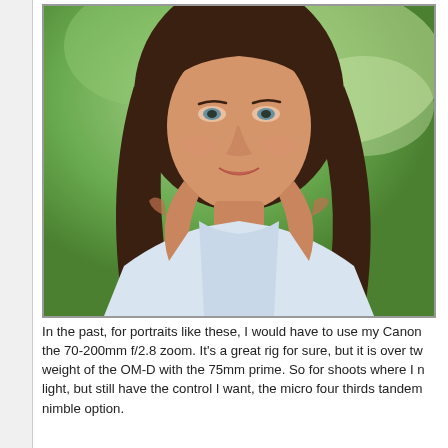[Figure (photo): Portrait photograph of a smiling woman with long brown hair, wearing a white top, hands near her chin/neck, set against a blurred green outdoor background.]
In the past, for portraits like these, I would have to use my Canon the 70-200mm f/2.8 zoom. It's a great rig for sure, but it is over tw weight of the OM-D with the 75mm prime. So for shoots where I n light, but still have the control I want, the micro four thirds tandem nimble option.